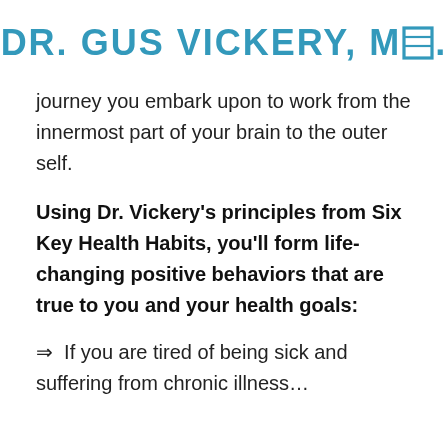DR. GUS VICKERY, MD.
journey you embark upon to work from the innermost part of your brain to the outer self.
Using Dr. Vickery's principles from Six Key Health Habits, you'll form life-changing positive behaviors that are true to you and your health goals:
⇒  If you are tired of being sick and suffering from chronic illness…